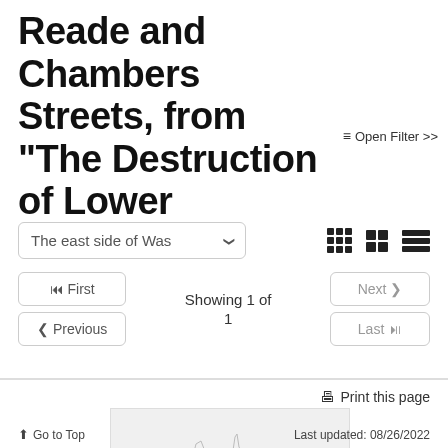Reade and Chambers Streets, from "The Destruction of Lower Manhattan"
≡ Open Filter >>
The east side of Was ∨
Showing 1 of 1
⏮ First
❮ Previous
Next ❯
Last ⏭
[Figure (photo): Thumbnail image of artwork showing buildings in lower Manhattan]
🖨 Print this page
⬆ Go to Top    Last updated: 08/26/2022